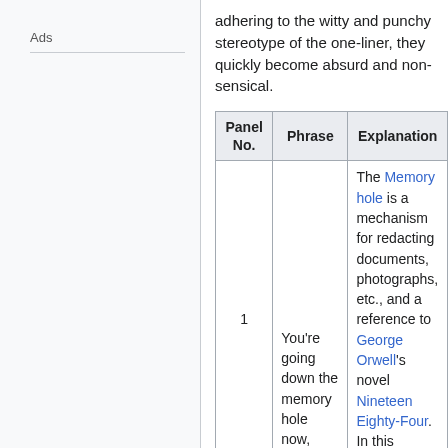Ads
adhering to the witty and punchy stereotype of the one-liner, they quickly become absurd and non-sensical.
| Panel No. | Phrase | Explanation |
| --- | --- | --- |
| 1 | You're going down the memory hole now, asshole. | The Memory hole is a mechanism for redacting documents, photographs, etc., and a reference to George Orwell's novel Nineteen Eighty-Four. In this instance i… |